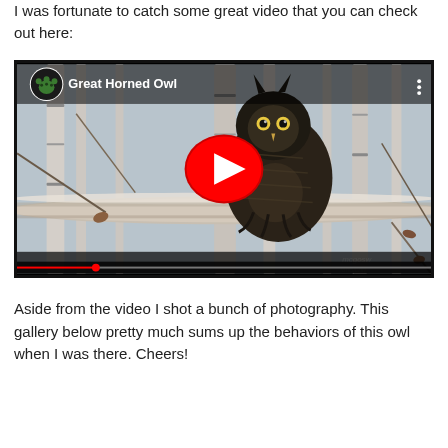I was fortunate to catch some great video that you can check out here:
[Figure (screenshot): YouTube video embed showing a Great Horned Owl perched on a birch tree branch. The video thumbnail shows the owl with birch trees in background. A red YouTube play button is overlaid in the center. The channel icon (bear paw print) and title 'Great Horned Owl' appear in the top left. A watermark appears bottom right.]
Aside from the video I shot a bunch of photography. This gallery below pretty much sums up the behaviors of this owl when I was there. Cheers!